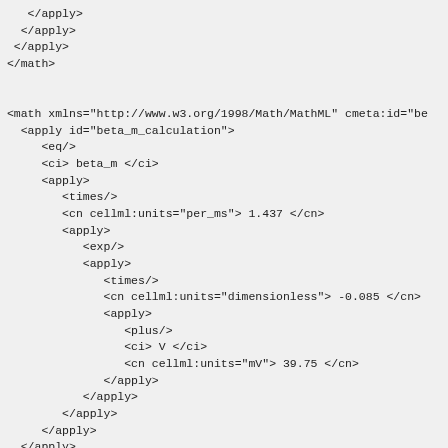</apply>
   </apply>
  </apply>
 </math>


 <math xmlns="http://www.w3.org/1998/Math/MathML" cmeta:id="be
   <apply id="beta_m_calculation">
      <eq/>
      <ci> beta_m </ci>
      <apply>
         <times/>
         <cn cellml:units="per_ms"> 1.437 </cn>
         <apply>
            <exp/>
            <apply>
               <times/>
               <cn cellml:units="dimensionless"> -0.085 </cn>
               <apply>
                  <plus/>
                  <ci> V </ci>
                  <cn cellml:units="mV"> 39.75 </cn>
               </apply>
            </apply>
         </apply>
      </apply>
   </apply>
 </math>